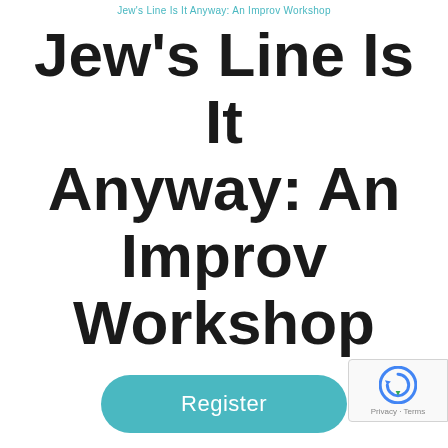Jew's Line Is It Anyway: An Improv Workshop
Jew's Line Is It Anyway: An Improv Workshop
Register
Enjoy making people laugh? Longingly dre of being the next Jon Stewart, Sarah Silve or late 90's Adam Sandler? Is Tina Foy your favo